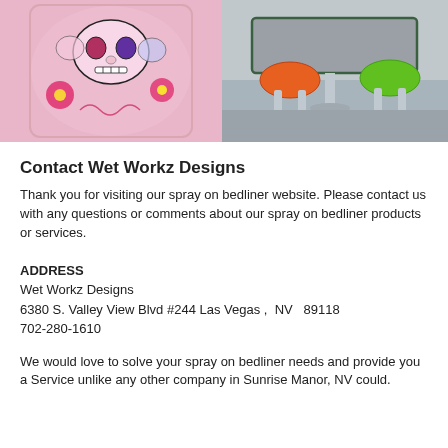[Figure (photo): Two photos side by side: left shows a pink decorative barrel/drum with colorful sugar skull designs; right shows a gray table top with orange and green modern chairs underneath on a chrome pedestal base.]
Contact Wet Workz Designs
Thank you for visiting our spray on bedliner website. Please contact us with any questions or comments about our spray on bedliner products or services.
ADDRESS
Wet Workz Designs
6380 S. Valley View Blvd #244 Las Vegas ,  NV   89118
702-280-1610
We would love to solve your spray on bedliner needs and provide you a Service unlike any other company in Sunrise Manor, NV could.